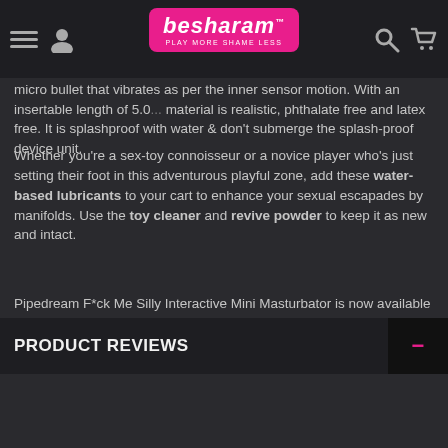besharam — PLAY MORE SHAME LESS (navigation bar)
micro bullet that vibrates as per the inner sensor motion. With an insertable length of 5.0... material is realistic, phthalate free and latex free. It is splashproof with water, don't submerge the splash-proof device unit.
Whether you're a sex-toy connoisseur or a novice player who's just setting their foot in this adventurous playful zone, add these water-based lubricants to your cart to enhance your sexual escapades by manifolds. Use the toy cleaner and revive powder to keep it as new and intact.
Pipedream F*ck Me Silly Interactive Mini Masturbator is now available across all cities India. We offer Free International Shipping + Discreet White Bubble wrap Packaging + Pay in Rupees via 5 Payment Options = 1000's of happy & satisfied customers in India. The price above includes the authentic product purchased directly from the manufacturer, international express shipping, customs, duties & taxes and regional shipping, delivered to your door. All inclusive.
PRODUCT REVIEWS